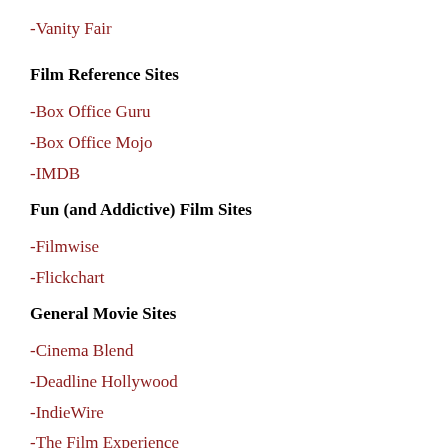-Vanity Fair
Film Reference Sites
-Box Office Guru
-Box Office Mojo
-IMDB
Fun (and Addictive) Film Sites
-Filmwise
-Flickchart
General Movie Sites
-Cinema Blend
-Deadline Hollywood
-IndieWire
-The Film Experience